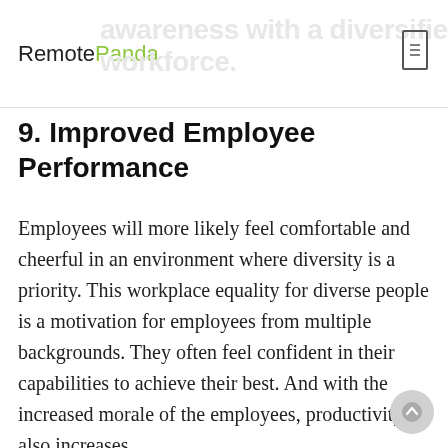RemotePanda
9. Improved Employee Performance
Employees will more likely feel comfortable and cheerful in an environment where diversity is a priority. This workplace equality for diverse people is a motivation for employees from multiple backgrounds. They often feel confident in their capabilities to achieve their best. And with the increased morale of the employees, productivity also increases.